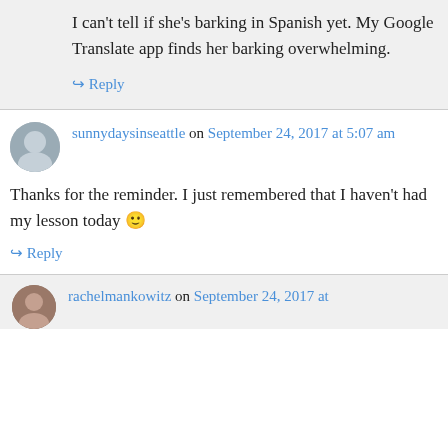I can't tell if she's barking in Spanish yet. My Google Translate app finds her barking overwhelming.
↳ Reply
sunnydaysinseattle on September 24, 2017 at 5:07 am
Thanks for the reminder. I just remembered that I haven't had my lesson today 🙂
↳ Reply
rachelmankowitz on September 24, 2017 at